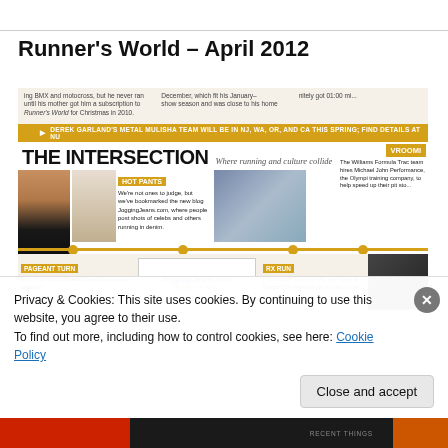Runner's World – April 2012
[Figure (photo): Screenshot of a blog post featuring a Runner's World April 2012 magazine page showing 'The Intersection: Where running and culture collide' section with items including Hot Pants (JoggingJeans.com), Pageant Turn (Miss America contestant Bree Boyce), RX Run (Doctors for America), and Vroomi (Williams Formula Track team). A cookie consent banner overlays the bottom of the image.]
Privacy & Cookies: This site uses cookies. By continuing to use this website, you agree to their use.
To find out more, including how to control cookies, see here: Cookie Policy
Close and accept